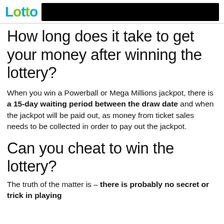[Figure (logo): Lotto logo with colorful letters and a black redacted bar]
How long does it take to get your money after winning the lottery?
When you win a Powerball or Mega Millions jackpot, there is a 15-day waiting period between the draw date and when the jackpot will be paid out, as money from ticket sales needs to be collected in order to pay out the jackpot.
Can you cheat to win the lottery?
The truth of the matter is – there is probably no secret or trick in playing